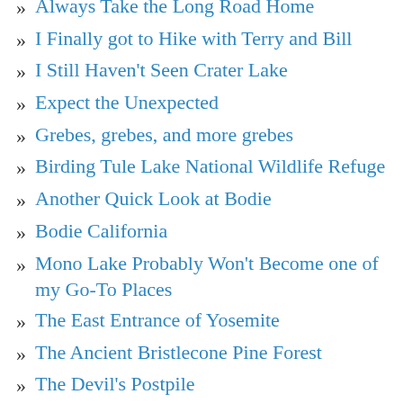Always Take the Long Road Home
I Finally got to Hike with Terry and Bill
I Still Haven't Seen Crater Lake
Expect the Unexpected
Grebes, grebes, and more grebes
Birding Tule Lake National Wildlife Refuge
Another Quick Look at Bodie
Bodie California
Mono Lake Probably Won't Become one of my Go-To Places
The East Entrance of Yosemite
The Ancient Bristlecone Pine Forest
The Devil's Postpile
A First Look at Mono Lake
Folks, This is Art
The Great Basin's Lehman Caves